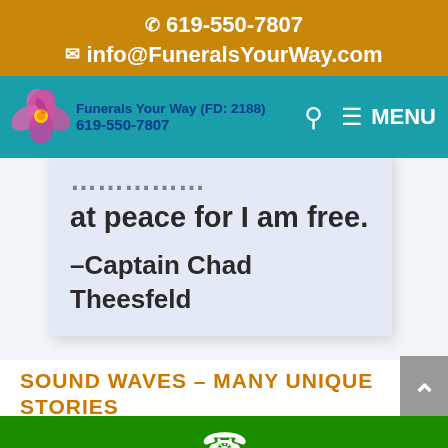✆ 619-550-7807
✉ info@FuneralsYourWay.com
[Figure (logo): Funerals Your Way navigation bar with orchid flower logo, brand name 'Funerals Your Way (FD: 2188)', phone number 619-550-7807, search icon, and MENU button on teal background]
at peace for I am free.
–Captain Chad Theesfeld
SOUND WAVES – MANY UNIQUE STORIES
Phone icon footer - green bar